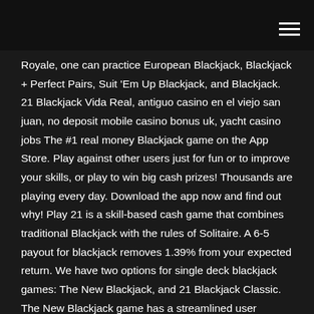Royale, one can practice European Blackjack, Blackjack + Perfect Pairs, Suit 'Em Up Blackjack, and Blackjack. 21 Blackjack Vida Real, antiguo casino en el viejo san juan, no deposit mobile casino bonus uk, yacht casino jobs The #1 real money Blackjack game on the App Store. Play against other users just for fun or to improve your skills, or play to win big cash prizes! Thousands are playing every day. Download the app now and find out why! Play 21 is a skill-based cash game that combines traditional Blackjack with the rules of Solitaire. A 6-5 payout for blackjack removes 1.39% from your expected return. We have two options for single deck blackjack games: The New Blackjack, and 21 Blackjack Classic. The New Blackjack game has a streamlined user interface and the buttons show up as